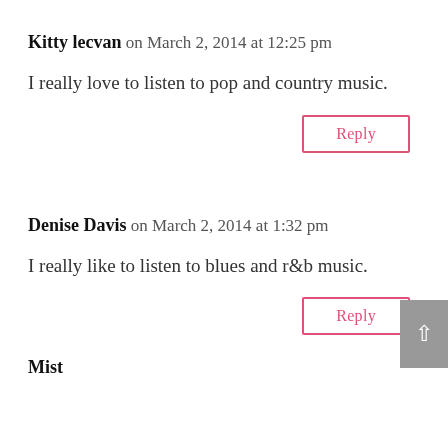Kitty lecvan on March 2, 2014 at 12:25 pm
I really love to listen to pop and country music.
Reply
Denise Davis on March 2, 2014 at 1:32 pm
I really like to listen to blues and r&b music.
Reply
Mist...